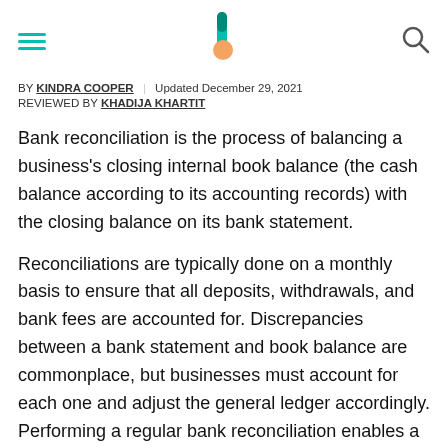[navigation header with hamburger menu, logo, and search icon]
BY KINDRA COOPER | Updated December 29, 2021
REVIEWED BY KHADIJA KHARTIT
Bank reconciliation is the process of balancing a business's closing internal book balance (the cash balance according to its accounting records) with the closing balance on its bank statement.
Reconciliations are typically done on a monthly basis to ensure that all deposits, withdrawals, and bank fees are accounted for. Discrepancies between a bank statement and book balance are commonplace, but businesses must account for each one and adjust the general ledger accordingly. Performing a regular bank reconciliation enables a business to locate any missing